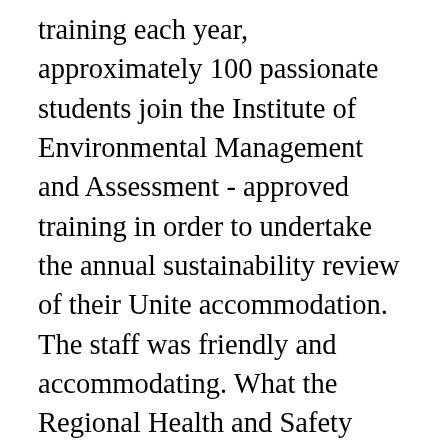training each year, approximately 100 passionate students join the Institute of Environmental Management and Assessment - approved training in order to undertake the annual sustainability review of their Unite accommodation. The staff was friendly and accommodating. What the Regional Health and Safety Manager job involves: The purpose Health and Safety team is to provide Unite Students with information, support and advice in order to ensure the health, safety, security, fire safety and wellbeing of our employees, customers, contractors, suppliers and members of the public entering or residing around our properties. 1 posts. worked here for a couple of months after a